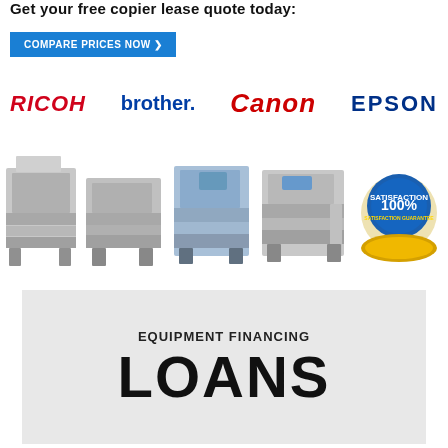Get your free copier lease quote today:
[Figure (other): Blue 'COMPARE PRICES NOW >' button]
[Figure (infographic): Brand logos row: RICOH, brother., Canon, EPSON]
[Figure (photo): Row of copier/printer machines with a 100% Satisfaction Guarantee badge on the right]
[Figure (infographic): Gray box with text 'EQUIPMENT FINANCING' and large bold 'LOANS']